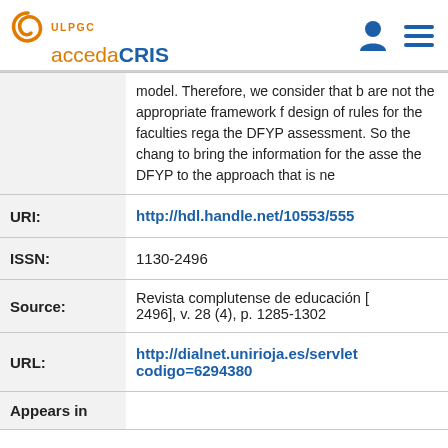ULPGC accedaCRIS
model. Therefore, we consider that h are not the appropriate framework f design of rules for the faculties rega the DFYP assessment. So the chang to bring the information for the asse the DFYP to the approach that is ne
| Field | Value |
| --- | --- |
| URI: | http://hdl.handle.net/10553/555 |
| ISSN: | 1130-2496 |
| Source: | Revista complutense de educación [ 2496], v. 28 (4), p. 1285-1302 |
| URL: | http://dialnet.unirioja.es/servlet codigo=6294380 |
| Appears in |  |